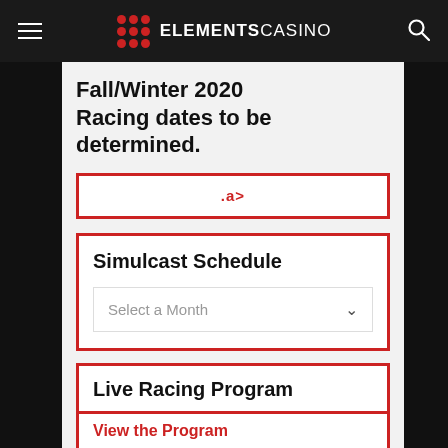ELEMENTSCASINO
Fall/Winter 2020 Racing dates to be determined.
.a>
Simulcast Schedule
Select a Month
Live Racing Program
View the Program